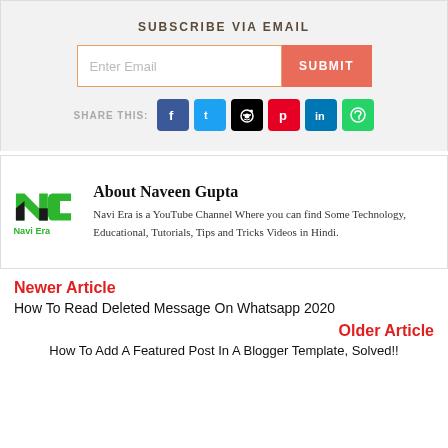SUBSCRIBE VIA EMAIL
Enter Email
SUBMIT
SHARE THIS:
[Figure (logo): Navi Era YouTube channel logo with green and black NC monogram and green Navi Era text]
About Naveen Gupta
Navi Era is a YouTube Channel Where you can find Some Technology, Educational, Tutorials, Tips and Tricks Videos in Hindi.
Newer Article
How To Read Deleted Message On Whatsapp 2020
Older Article
How To Add A Featured Post In A Blogger Template, Solved!!